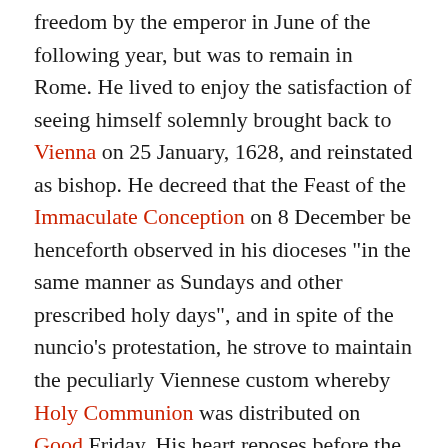freedom by the emperor in June of the following year, but was to remain in Rome. He lived to enjoy the satisfaction of seeing himself solemnly brought back to Vienna on 25 January, 1628, and reinstated as bishop. He decreed that the Feast of the Immaculate Conception on 8 December be henceforth observed in his dioceses "in the same manner as Sundays and other prescribed holy days", and in spite of the nuncio's protestation, he strove to maintain the peculiarly Viennese custom whereby Holy Communion was distributed on Good Friday. His heart reposes before the high altar of the cathedral of Wiener-Neustadt, while his body rests in the cathedral of St. Stephen's.